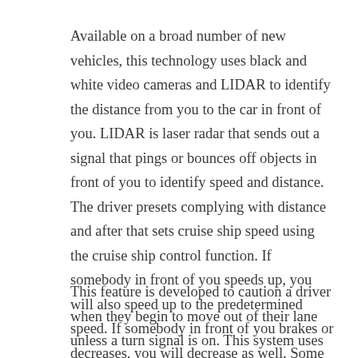Available on a broad number of new vehicles, this technology uses black and white video cameras and LIDAR to identify the distance from you to the car in front of you. LIDAR is laser radar that sends out a signal that pings or bounces off objects in front of you to identify speed and distance. The driver presets complying with distance and after that sets cruise ship speed using the cruise ship control function. If somebody in front of you speeds up, you will also speed up to the predetermined speed. If somebody in front of you brakes or decreases, you will decrease as well. Some systems allow the driver to resume control, and some systems will bring the car to a total stop if required.
This feature is developed to caution a driver when they begin to move out of their lane unless a turn signal is on. This system uses video sensors, lasers, and infrared sensors to identify when your car drifts across the road in either a